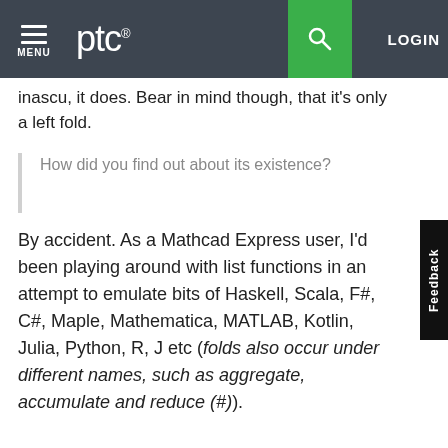PTC | MENU | LOGIN
inascu, it does. Bear in mind though, that it's only a left fold.
How did you find out about its existence?
By accident.  As a Mathcad Express user, I'd been playing around with list functions in an attempt to emulate bits of Haskell, Scala, F#, C#, Maple, Mathematica, MATLAB, Kotlin, Julia, Python, R, J etc (folds also occur under different names, such as aggregate, accumulate and reduce (#)).